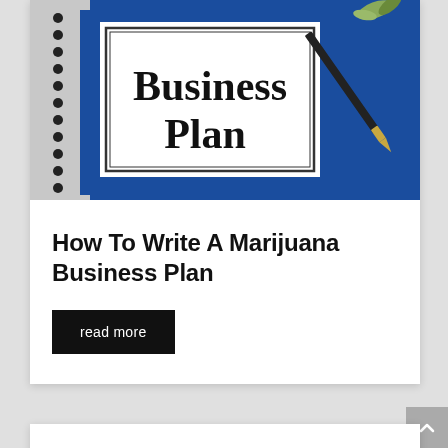[Figure (photo): Photo of a blue spiral-bound Business Plan notebook with a white label reading 'Business Plan' in bold serif font, with a pen resting on top against a blue background]
How To Write A Marijuana Business Plan
read more